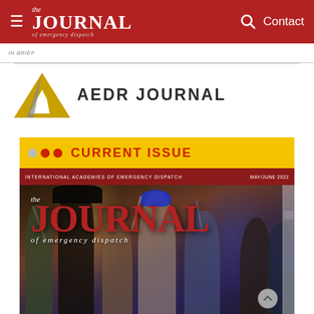The Journal of Emergency Dispatch — Contact
[Figure (logo): AEDR Journal logo — triangle A in gold/gray]
AEDR JOURNAL
CURRENT ISSUE
[Figure (photo): Cover of The Journal of Emergency Dispatch, May/June 2022, showing the journal masthead overlaid on a photo of people dancing/celebrating at a conference event with hats and raised arms. Red header bar reads INTERNATIONAL ACADEMIES OF EMERGENCY DISPATCH.]